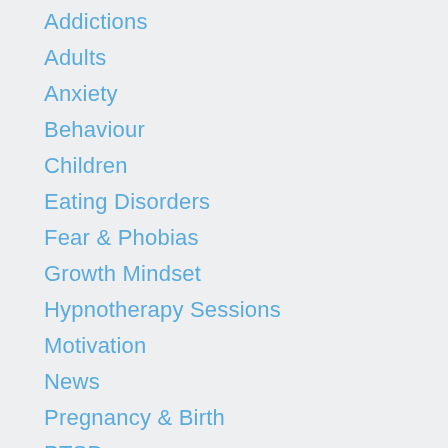Addictions
Adults
Anxiety
Behaviour
Children
Eating Disorders
Fear & Phobias
Growth Mindset
Hypnotherapy Sessions
Motivation
News
Pregnancy & Birth
PTSD
Rituals